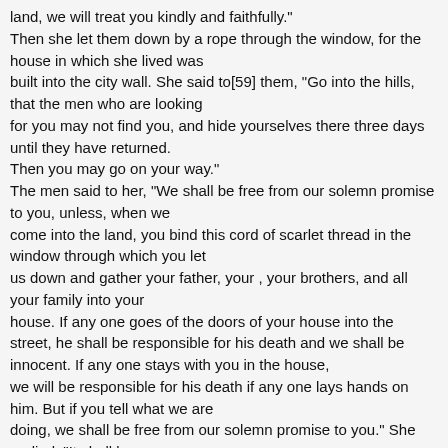land, we will treat you kindly and faithfully." Then she let them down by a rope through the window, for the house in which she lived was built into the city wall. She said to[59] them, "Go into the hills, that the men who are looking for you may not find you, and hide yourselves there three days until they have returned. Then you may go on your way." The men said to her, "We shall be free from our solemn promise to you, unless, when we come into the land, you bind this cord of scarlet thread in the window through which you let us down and gather your father, your , your brothers, and all your family into your house. If any one goes of the doors of your house into the street, he shall be responsible for his death and we shall be innocent. If any one stays with you in the house, we will be responsible for his death if any one lays hands on him. But if you tell what we are doing, we shall be free from our solemn promise to you." She replied, "It shall be as you say." So she sent them away. And when they were gone, she bound the scarlet cord in the window. So they left and went into the hills and stayed there three days until those who were looking for them had returned. They sought for them in every direction but did not find them. Then the two men came down from the hills, crossed the river, and came to Joshua and told him all that had happened to them. Joshua up early in the morning and set from Shittim. And he and all the Israelites...